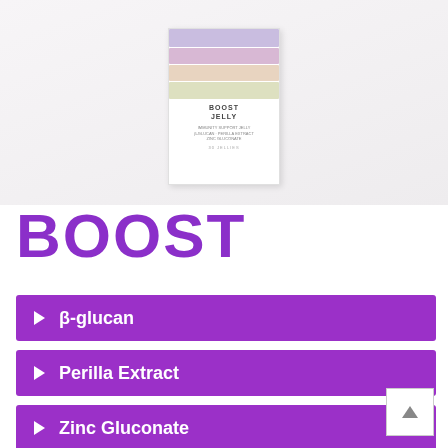[Figure (photo): Product photo of BOOST JELLY supplement box with pastel layered jelly strips visible through packaging, white box with purple text]
BOOST
β-glucan
Perilla Extract
Zinc Gluconate